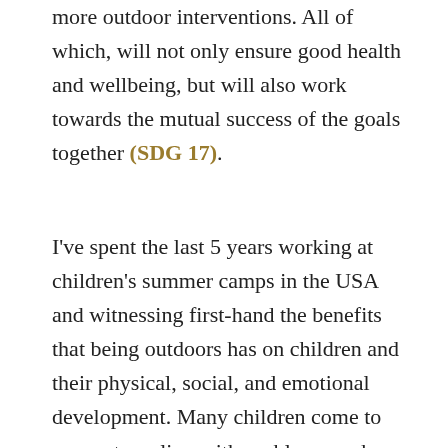more outdoor interventions. All of which, will not only ensure good health and wellbeing, but will also work towards the mutual success of the goals together (SDG 17).
I've spent the last 5 years working at children's summer camps in the USA and witnessing first-hand the benefits that being outdoors has on children and their physical, social, and emotional development. Many children come to camp struggling with problems such as stress and anxiety but leave with a changed perspective after experiencing